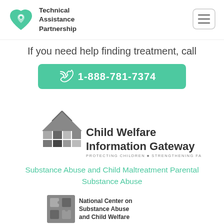[Figure (logo): Technical Assistance Partnership logo: teal heart with location pin icon and bold text 'Technical Assistance Partnership']
[Figure (other): Hamburger menu icon (three horizontal lines) in a rounded rectangle button]
If you need help finding treatment, call
[Figure (infographic): Teal rounded rectangle button with phone icon and text '1-888-781-7374']
[Figure (logo): Child Welfare Information Gateway logo: grayscale house illustration with text 'Child Welfare Information Gateway' and tagline 'PROTECTING CHILDREN ■ STRENGTHENING FAMILIES']
Substance Abuse and Child Maltreatment Parental Substance Abuse
[Figure (logo): National Center on Substance Abuse and Child Welfare logo: puzzle pieces icon with organization name text]